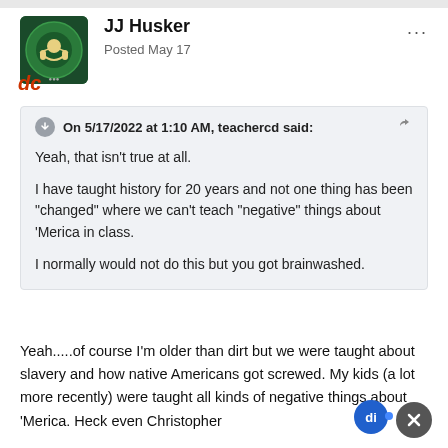[Figure (illustration): User avatar: circular icon with green spiral/headphone design on dark background]
JJ Husker
Posted May 17
On 5/17/2022 at 1:10 AM, teachercd said:
Yeah, that isn't true at all.

I have taught history for 20 years and not one thing has been "changed" where we can't teach "negative" things about 'Merica in class.

I normally would not do this but you got brainwashed.
Yeah.....of course I'm older than dirt but we were taught about slavery and how native Americans got screwed. My kids (a lot more recently) were taught all kinds of negative things about 'Merica. Heck even Christopher